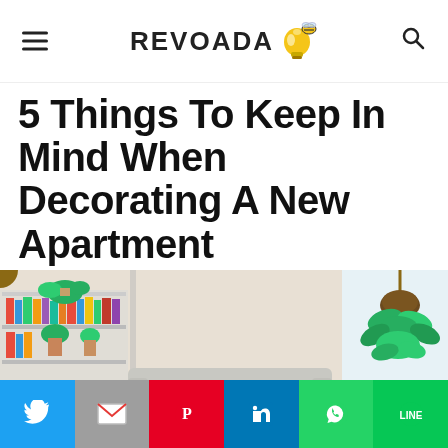REVOADA
5 Things To Keep In Mind When Decorating A New Apartment
[Figure (photo): Interior of a cozy apartment living room with a gray sofa, bookshelves filled with plants and books, hanging potted plant, and a small wooden coffee table. Bright natural light from a window.]
Social share bar: Twitter, Gmail, Pinterest, LinkedIn, WhatsApp, LINE